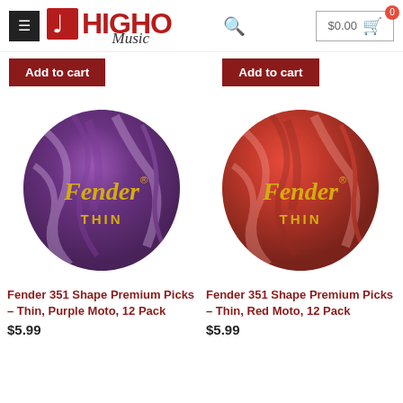[Figure (screenshot): HighQ Music store header with logo, search icon, and cart button showing $0.00]
[Figure (other): Two dark red Add to cart buttons side by side]
[Figure (photo): Purple marbled Fender 351 Shape Premium Pick - Thin]
Fender 351 Shape Premium Picks – Thin, Purple Moto, 12 Pack
$5.99
[Figure (photo): Red marbled Fender 351 Shape Premium Pick - Thin]
Fender 351 Shape Premium Picks – Thin, Red Moto, 12 Pack
$5.99